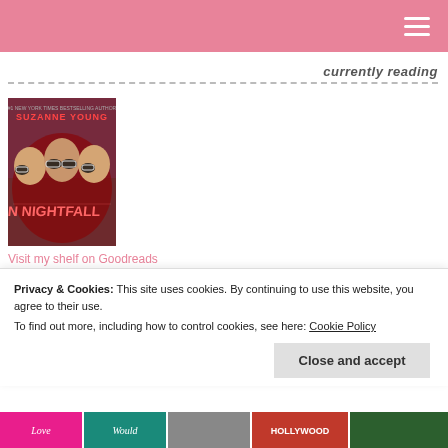currently reading
[Figure (illustration): Book cover of 'In Nightfall' by Suzanne Young, showing three young women with sunglasses against a pink/red background with the title in large stylized text]
Visit my shelf on Goodreads
Privacy & Cookies: This site uses cookies. By continuing to use this website, you agree to their use.
To find out more, including how to control cookies, see here: Cookie Policy
Close and accept
[Figure (illustration): Row of book cover thumbnails at the bottom of the page]